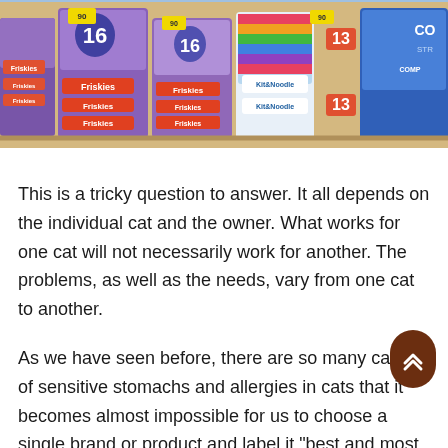[Figure (photo): Photo of a retail store shelf stocked with cat food products including Friskies and Kit & Noodle brands in purple and blue packaging, with yellow price tags visible.]
This is a tricky question to answer. It all depends on the individual cat and the owner. What works for one cat will not necessarily work for another. The problems, as well as the needs, vary from one cat to another.
As we have seen before, there are so many causes of sensitive stomachs and allergies in cats that it becomes almost impossible for us to choose a single brand or product and label it "best and most nutritious".